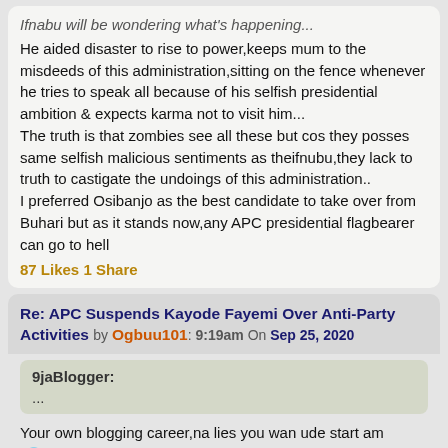Ifnabu will be wondering what's happening... He aided disaster to rise to power,keeps mum to the misdeeds of this administration,sitting on the fence whenever he tries to speak all because of his selfish presidential ambition & expects karma not to visit him... The truth is that zombies see all these but cos they posses same selfish malicious sentiments as theifnubu,they lack to truth to castigate the undoings of this administration.. I preferred Osibanjo as the best candidate to take over from Buhari but as it stands now,any APC presidential flagbearer can go to hell
87 Likes 1 Share
Re: APC Suspends Kayode Fayemi Over Anti-Party Activities by Ogbuu101: 9:19am On Sep 25, 2020
9jaBlogger: ...
Your own blogging career,na lies you wan ude start am 🌐
5 Likes 1 Share